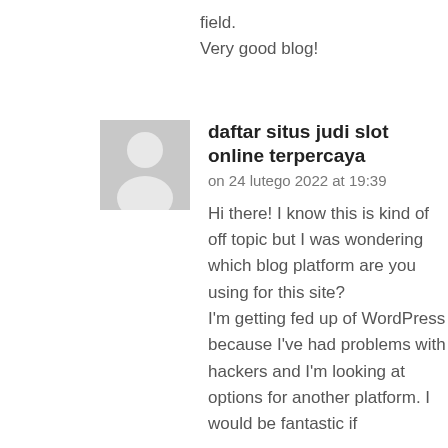field.
Very good blog!
[Figure (illustration): Gray placeholder avatar icon showing a silhouette of a person]
daftar situs judi slot online terpercaya
on 24 lutego 2022 at 19:39

Hi there! I know this is kind of off topic but I was wondering which blog platform are you using for this site?
I'm getting fed up of WordPress because I've had problems with hackers and I'm looking at options for another platform. I would be fantastic if